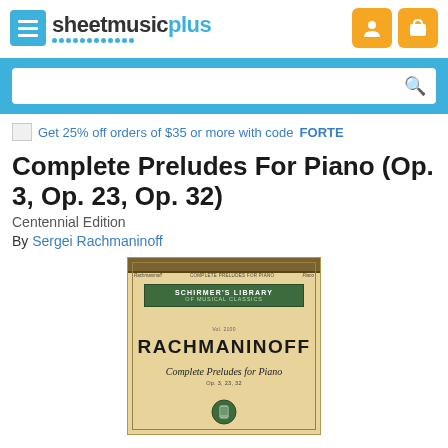sheetmusicplus
Get 25% off orders of $35 or more with code FORTE
Complete Preludes For Piano (Op. 3, Op. 23, Op. 32)
Centennial Edition
By Sergei Rachmaninoff
[Figure (photo): Book cover of 'Complete Preludes for Piano' by Rachmaninoff, Schirmer's Library of Musical Classics edition, tan/gold colored cover with green Schirmer's Library banner, showing composer name RACHMANINOFF and work title 'Complete Preludes for Piano Op. 3, 23, 32']